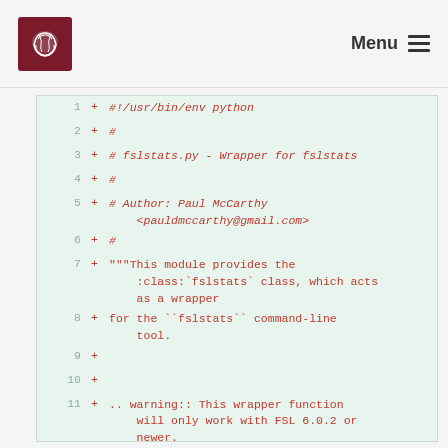Menu
[Figure (screenshot): Code diff viewer showing lines 1-13 of fslstats.py with green background and red added lines]
1 + #!/usr/bin/env python
2 + #
3 + # fslstats.py - Wrapper for fslstats
4 + #
5 + # Author: Paul McCarthy <pauldmccarthy@gmail.com>
6 + #
7 + """This module provides the :class:`fslstats` class, which acts as a wrapper
8 + for the ``fslstats`` command-line tool.
9 +
10 +
11 + .. warning:: This wrapper function will only work with FSL 6.0.2 or newer.
12 + """
13 +